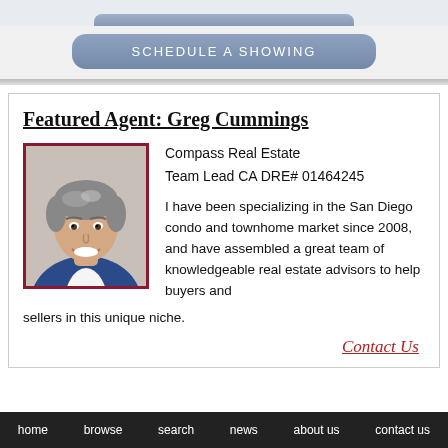[Figure (other): Blue rounded button at top of page]
SCHEDULE A SHOWING
Featured Agent: Greg Cummings
[Figure (photo): Headshot photo of Greg Cummings, a man in a blue blazer and white shirt, smiling, with dark gray hair]
Compass Real Estate
Team Lead CA DRE# 01464245

I have been specializing in the San Diego condo and townhome market since 2008, and have assembled a great team of knowledgeable real estate advisors to help buyers and sellers in this unique niche.
Contact Us
home   browse   search   news   about us   contact us